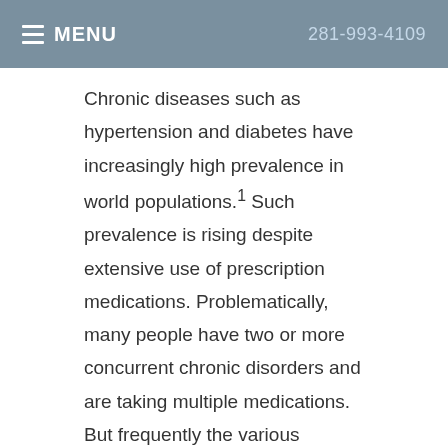MENU  281-993-4109
Chronic diseases such as hypertension and diabetes have increasingly high prevalence in world populations.1 Such prevalence is rising despite extensive use of prescription medications. Problematically, many people have two or more concurrent chronic disorders and are taking multiple medications. But frequently the various physicians are not in contact and are not aware of the patient's complete list of current prescriptions. No single physician or nurse is managing the patient's array of medications. As a result, potentially harmful drug interactions are a common occurrence.2,3 Mistakes are made and patients may suffer serious side effects. In such adverse circumstances, the cure in